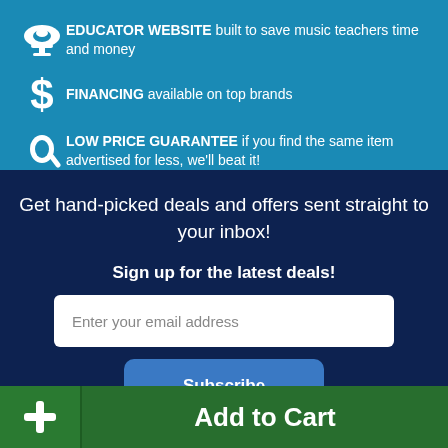EDUCATOR WEBSITE built to save music teachers time and money
FINANCING available on top brands
LOW PRICE GUARANTEE if you find the same item advertised for less, we'll beat it!
Get hand-picked deals and offers sent straight to your inbox!
Sign up for the latest deals!
Enter your email address
Subscribe
+ Add to Cart